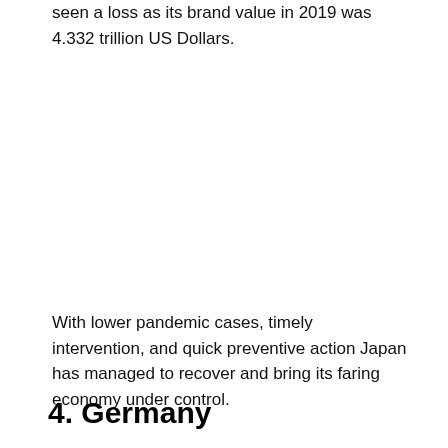seen a loss as its brand value in 2019 was 4.332 trillion US Dollars.
With lower pandemic cases, timely intervention, and quick preventive action Japan has managed to recover and bring its faring economy under control.
4. Germany